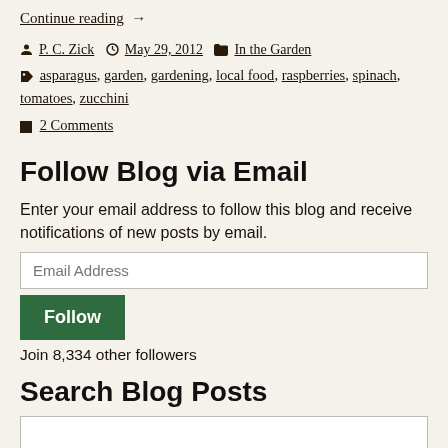Continue reading →
P. C. Zick  May 29, 2012  In the Garden
asparagus, garden, gardening, local food, raspberries, spinach, tomatoes, zucchini
2 Comments
Follow Blog via Email
Enter your email address to follow this blog and receive notifications of new posts by email.
Email Address
Follow
Join 8,334 other followers
Search Blog Posts